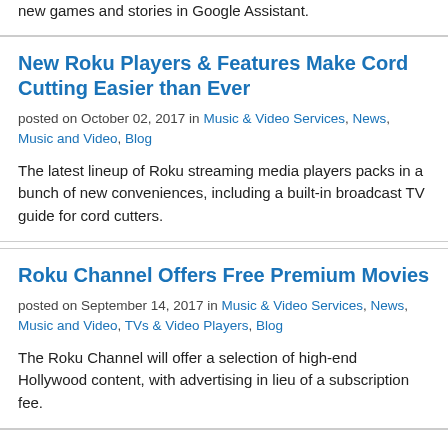new games and stories in Google Assistant.
New Roku Players & Features Make Cord Cutting Easier than Ever
posted on October 02, 2017 in Music & Video Services, News, Music and Video, Blog
The latest lineup of Roku streaming media players packs in a bunch of new conveniences, including a built-in broadcast TV guide for cord cutters.
Roku Channel Offers Free Premium Movies
posted on September 14, 2017 in Music & Video Services, News, Music and Video, TVs & Video Players, Blog
The Roku Channel will offer a selection of high-end Hollywood content, with advertising in lieu of a subscription fee.
Netflix Interactive Stories Let You Take